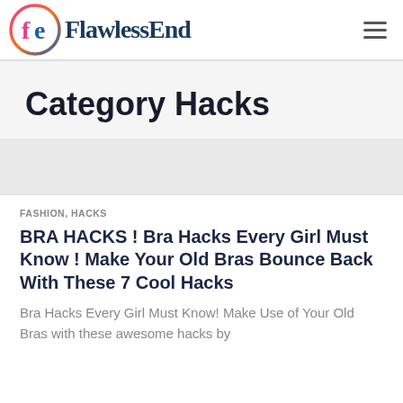FlawlessEnd
Category Hacks
FASHION, HACKS
BRA HACKS ! Bra Hacks Every Girl Must Know ! Make Your Old Bras Bounce Back With These 7 Cool Hacks
Bra Hacks Every Girl Must Know! Make Use of Your Old Bras with these awesome hacks by